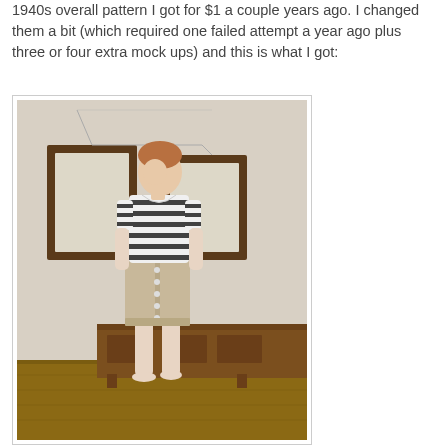1940s overall pattern I got for $1 a couple years ago. I changed them a bit (which required one failed attempt a year ago plus three or four extra mock ups) and this is what I got:
[Figure (photo): A person standing in a room wearing a navy and white striped short-sleeve top and high-waisted beige/tan shorts with buttons down the front. They are barefoot on a wood floor, with two framed mirrors hanging on the wall behind them and a wooden dresser in the background.]